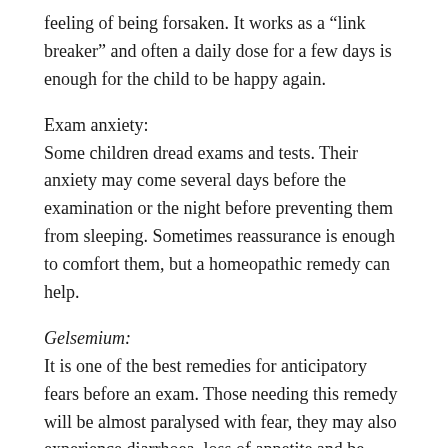feeling of being forsaken. It works as a “link breaker” and often a daily dose for a few days is enough for the child to be happy again.
Exam anxiety:
Some children dread exams and tests. Their anxiety may come several days before the examination or the night before preventing them from sleeping. Sometimes reassurance is enough to comfort them, but a homeopathic remedy can help.
Gelsemium:
It is one of the best remedies for anticipatory fears before an exam. Those needing this remedy will be almost paralysed with fear, they may also experience diarrhoea, loss of appetite and be thirstless.
Aethusa:
The characteristic symptom of this remedy is the inability